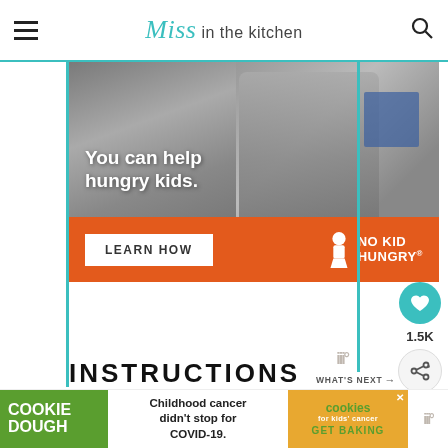Miss in the kitchen
[Figure (infographic): No Kid Hungry advertisement showing a child with text 'You can help hungry kids.' and an orange bar with 'LEARN HOW' button and No Kid Hungry logo]
1.5K
INSTRUCTIONS
1. Add mustard, mayonnaise,
[Figure (infographic): Cookie Dough advertisement: 'COOKIE DOUGH' in green, 'Childhood cancer didn't stop for COVID-19.' and 'GET BAKING' button with cookies for kids cancer logo]